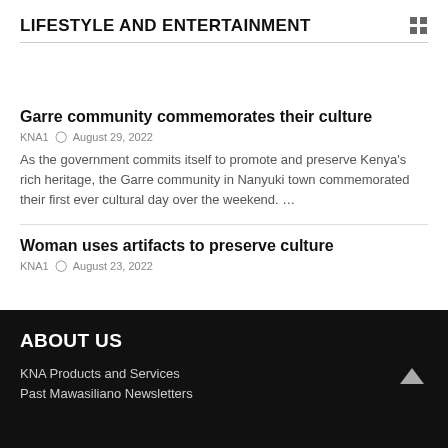LIFESTYLE AND ENTERTAINMENT
Garre community commemorates their culture
KNA1  ⊙  August 29, 2022
As the government commits itself to promote and preserve Kenya's rich heritage, the Garre community in Nanyuki town commemorated their first ever cultural day over the weekend. …
Woman uses artifacts to preserve culture
KNA1  ⊙  August 23, 2022
ABOUT US
KNA Products and Services
Past Mawasiliano Newsletters